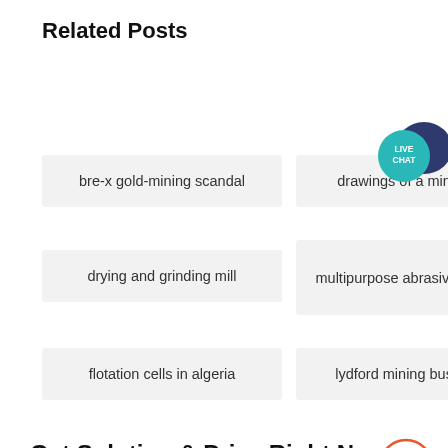Related Posts
bre-x gold-mining scandal
drawings of a mini cr…
drying and grinding mill
multipurpose abrasive grinder
flotation cells in algeria
lydford mining business
[Figure (infographic): Live Chat bubble icon — teal circle with LIVE CHAT text and dark blue speech bubble]
Get Solution & Price Right N
[Figure (other): Scroll-to-top button: circle with upward arrow, orange outline]
Please Select!
Get a Quote
WhatsApp